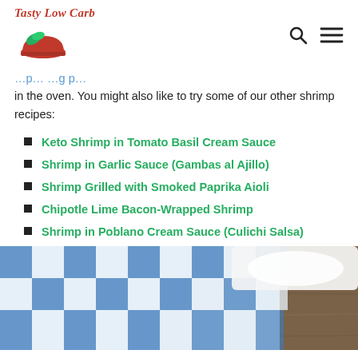Tasty Low Carb
in the oven. You might also like to try some of our other shrimp recipes:
Keto Shrimp in Tomato Basil Cream Sauce
Shrimp in Garlic Sauce (Gambas al Ajillo)
Shrimp Grilled with Smoked Paprika Aioli
Chipotle Lime Bacon-Wrapped Shrimp
Shrimp in Poblano Cream Sauce (Culichi Salsa)
[Figure (photo): Blue and white checkered cloth napkin on wooden surface with white dish partially visible]